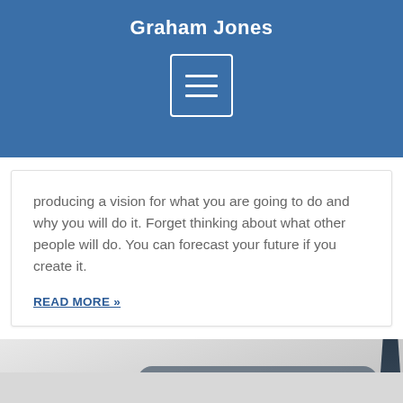Graham Jones
producing a vision for what you are going to do and why you will do it. Forget thinking about what other people will do. You can forecast your future if you create it.
READ MORE »
[Figure (photo): Photo section with maze/labyrinth image and overlaid pill-shaped tag reading 'INTERNET MARKETING ARTICLES']